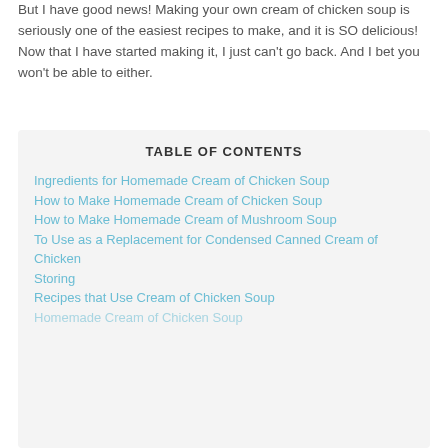But I have good news! Making your own cream of chicken soup is seriously one of the easiest recipes to make, and it is SO delicious! Now that I have started making it, I just can't go back. And I bet you won't be able to either.
TABLE OF CONTENTS
Ingredients for Homemade Cream of Chicken Soup
How to Make Homemade Cream of Chicken Soup
How to Make Homemade Cream of Mushroom Soup
To Use as a Replacement for Condensed Canned Cream of Chicken
Storing
Recipes that Use Cream of Chicken Soup
Homemade Cream of Chicken Soup